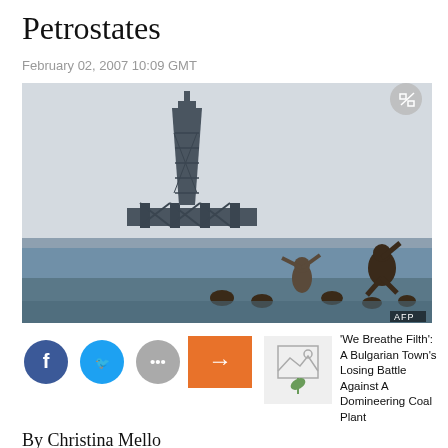Petrostates
February 02, 2007 10:09 GMT
[Figure (photo): An offshore oil drilling rig visible in the ocean background, with people playing in the water in the foreground. AFP watermark in bottom right.]
[Figure (illustration): Small thumbnail image placeholder for a linked article about a Bulgarian town and a coal plant.]
'We Breathe Filth': A Bulgarian Town's Losing Battle Against A Domineering Coal Plant